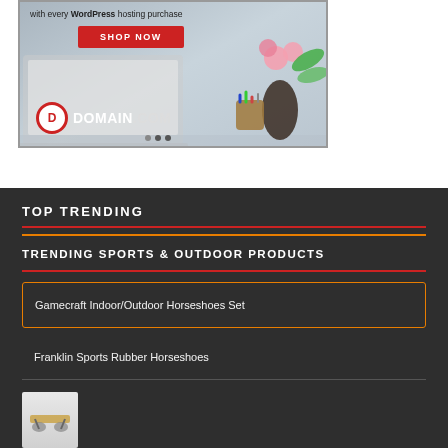[Figure (screenshot): Domain.com advertisement banner with 'with every WordPress hosting purchase' text, red SHOP NOW button, Domain.com logo, and decorative laptop with flower vase]
TOP TRENDING
TRENDING SPORTS & OUTDOOR PRODUCTS
Gamecraft Indoor/Outdoor Horseshoes Set
Franklin Sports Rubber Horseshoes
[Figure (photo): Product thumbnail image (partially visible)]